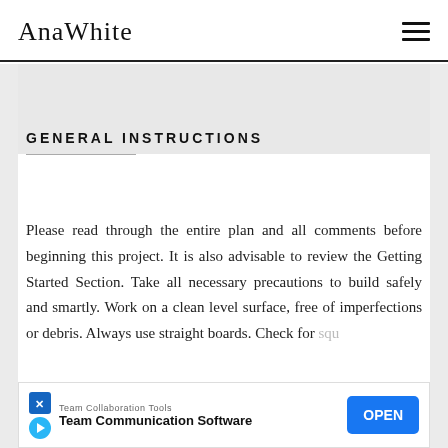AnaWhite
GENERAL INSTRUCTIONS
Please read through the entire plan and all comments before beginning this project. It is also advisable to review the Getting Started Section. Take all necessary precautions to build safely and smartly. Work on a clean level surface, free of imperfections or debris. Always use straight boards. Check for squ... att... a